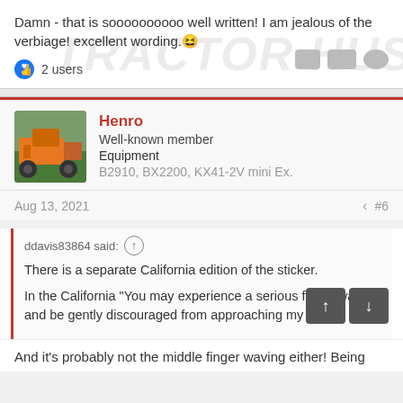Damn - that is soooooooooo well written! I am jealous of the verbiage! excellent wording. 😄
👍 2 users
Henro
Well-known member
Equipment
B2910, BX2200, KX41-2V mini Ex.
Aug 13, 2021
#6
ddavis83864 said: ↑

There is a separate California edition of the sticker.

In the California "You may experience a serious finger waging and be gently discouraged from approaching my trac
And it's probably not the middle finger waving either! Being